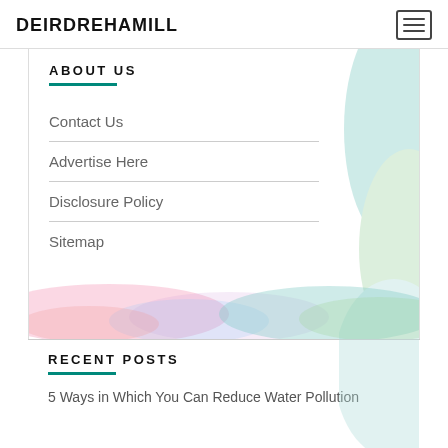DEIRDREHAMILL
ABOUT US
Contact Us
Advertise Here
Disclosure Policy
Sitemap
[Figure (illustration): Watercolor pastel strip with pink, white/blue, and green tones]
RECENT POSTS
5 Ways in Which You Can Reduce Water Pollution